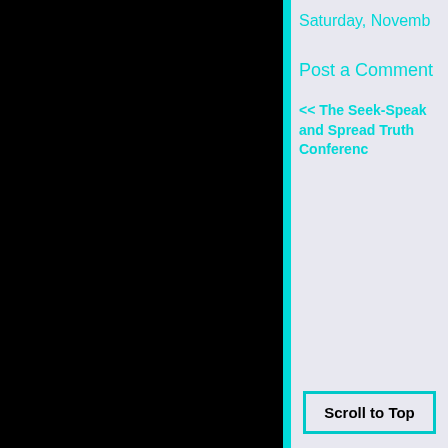[Figure (other): Black panel occupying the left two-thirds of the page]
Saturday, Novemb
Post a Comment
<< The Seek-Speak and Spread Truth Conferenc
Scroll to Top